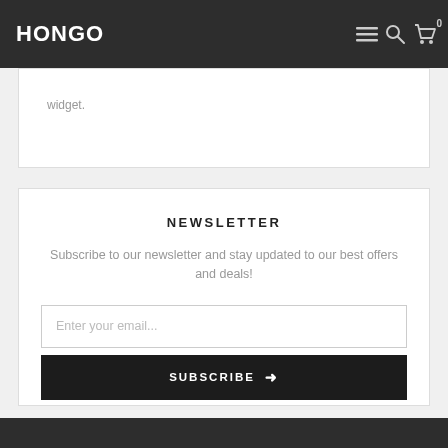HONGO
widget.
NEWSLETTER
Subscribe to our newsletter and stay updated to our best offers and deals!
Enter your email...
SUBSCRIBE →